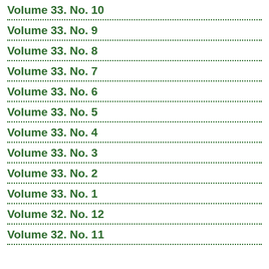Volume 33. No. 10
Volume 33. No. 9
Volume 33. No. 8
Volume 33. No. 7
Volume 33. No. 6
Volume 33. No. 5
Volume 33. No. 4
Volume 33. No. 3
Volume 33. No. 2
Volume 33. No. 1
Volume 32. No. 12
Volume 32. No. 11